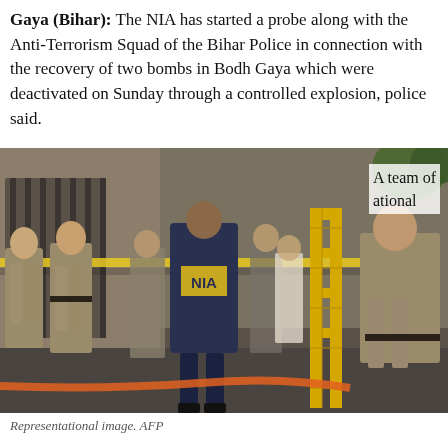Gaya (Bihar): The NIA has started a probe along with the Anti-Terrorism Squad of the Bihar Police in connection with the recovery of two bombs in Bodh Gaya which were deactivated on Sunday through a controlled explosion, police said.
[Figure (photo): NIA officials and police personnel at a bomb recovery site. A person wearing a navy blue jacket with 'NIA' written on the back walks through a crowd of uniformed police officers near yellow barricades. Representational image by AFP.]
Representational image. AFP